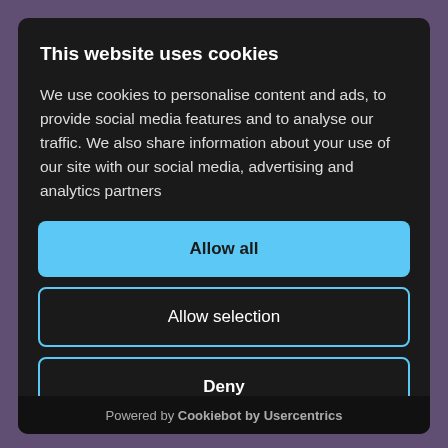This website uses cookies
We use cookies to personalise content and ads, to provide social media features and to analyse our traffic. We also share information about your use of our site with our social media, advertising and analytics partners
Allow all
Allow selection
Deny
Powered by Cookiebot by Usercentrics